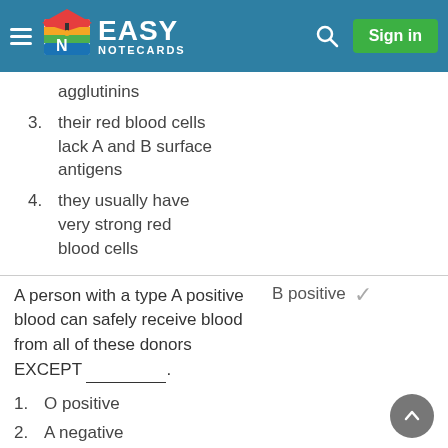EASY NOTECARDS
agglutinins
3. their red blood cells lack A and B surface antigens
4. they usually have very strong red blood cells
A person with a type A positive blood can safely receive blood from all of these donors EXCEPT __________.
B positive ✓
1. O positive
2. A negative
3. B positive
4. A positive